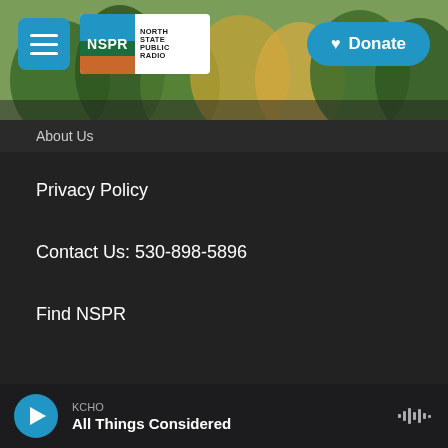[Figure (screenshot): NSPR website header with forest background, hamburger menu button, NSPR North State Public Radio logo, and blue Donate button]
About Us
Privacy Policy
Contact Us: 530-898-5896
Find NSPR
[Figure (logo): Partner logos: NPR, American Public Media, BBC, PRX]
KCHO
All Things Considered